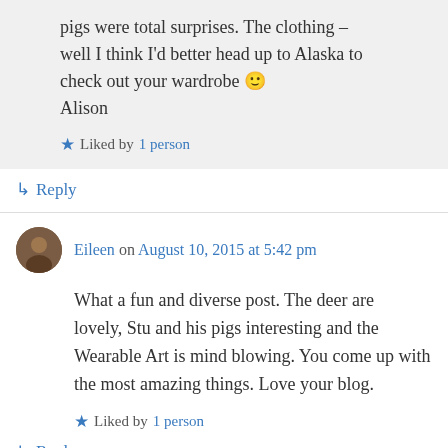pigs were total surprises. The clothing – well I think I'd better head up to Alaska to check out your wardrobe 🙂 Alison
★ Liked by 1 person
↳ Reply
Eileen on August 10, 2015 at 5:42 pm
What a fun and diverse post. The deer are lovely, Stu and his pigs interesting and the Wearable Art is mind blowing. You come up with the most amazing things. Love your blog.
★ Liked by 1 person
↳ Reply